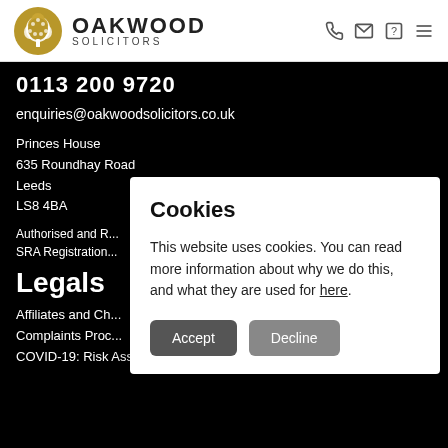[Figure (logo): Oakwood Solicitors logo with gold tree emblem and text OAKWOOD SOLICITORS]
0113 200 9720
enquiries@oakwoodsolicitors.co.uk
Princes House
635 Roundhay Road
Leeds
LS8 4BA
Authorised and R...
SRA Registration...
Legals
Affiliates and Ch...
Complaints Proc...
COVID-19: Risk Assessment
Cookies
This website uses cookies. You can read more information about why we do this, and what they are used for here.
Accept
Decline